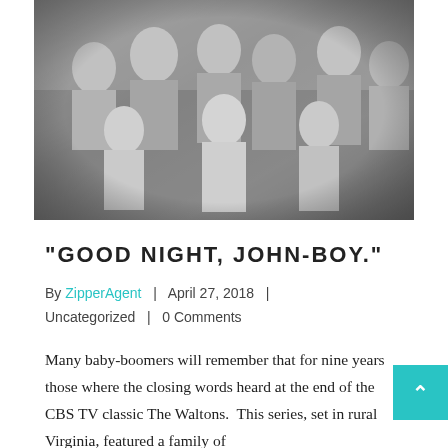[Figure (photo): Black and white group photo of a large family or cast, multiple adults and children posing together, appears to be the cast of The Waltons TV show.]
“GOOD NIGHT, JOHN-BOY.”
By ZipperAgent  |  April 27, 2018  |  Uncategorized  |  0 Comments
Many baby-boomers will remember that for nine years those where the closing words heard at the end of the CBS TV classic The Waltons. This series, set in rural Virginia, featured a family of